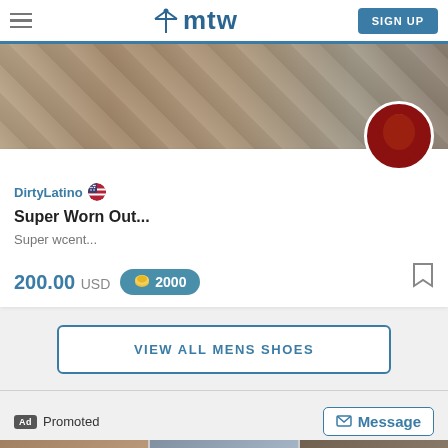mtw — SIGN UP
[Figure (photo): Product listing hero image showing worn clothing items with a circular avatar of a person in red lighting]
DirtyLatino 🇺🇸
Super Worn Out...
Super wcent...
200.00 USD  🪙2000
VIEW ALL MENS SHOES
Ad Promoted
Message